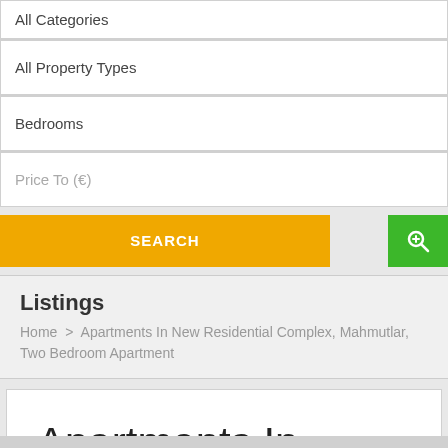All Categories
All Property Types
Bedrooms
Price To (€)
SEARCH
Listings
Home > Apartments In New Residential Complex, Mahmutlar, Two Bedroom Apartment
Apartments In